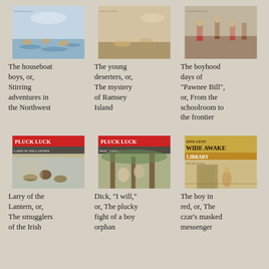[Figure (illustration): Illustration cover: The houseboat boys, rowing/swimming scene in water]
The houseboat boys, or, Stirring adventures in the Northwest
[Figure (illustration): Illustration cover: The young deserters, figures on sandy ground]
The young deserters, or, The mystery of Ramsey Island
[Figure (illustration): Illustration cover: The boyhood days of Pawnee Bill, soldiers/frontier scene]
The boyhood days of "Pawnee Bill", or, From the schoolroom to the frontier
[Figure (illustration): Pluck and Luck magazine cover: Larry of the Lantern, smugglers scene]
Larry of the Lantern, or, The smugglers of the Irish
[Figure (illustration): Pluck and Luck magazine cover: Dick I will, plucky boy orphan scene]
Dick, "I will," or, The plucky fight of a boy orphan
[Figure (illustration): Wide Awake Library cover: The boy in red, czar's masked messenger]
The boy in red, or, The czar's masked messenger